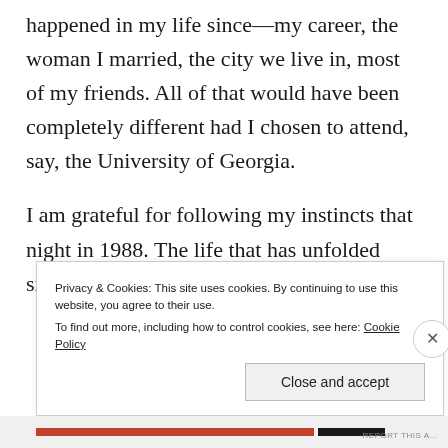happened in my life since—my career, the woman I married, the city we live in, most of my friends. All of that would have been completely different had I chosen to attend, say, the University of Georgia.
I am grateful for following my instincts that night in 1988. The life that has unfolded since has been a good one.
Privacy & Cookies: This site uses cookies. By continuing to use this website, you agree to their use.
To find out more, including how to control cookies, see here: Cookie Policy